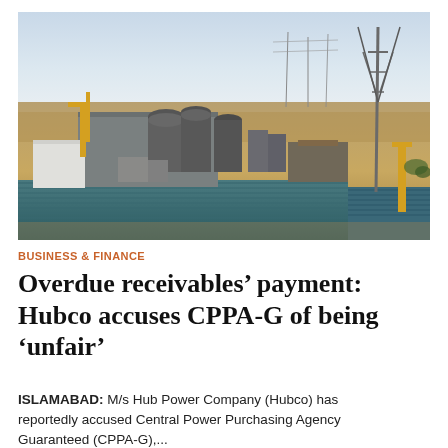[Figure (photo): Aerial view of an industrial power plant facility in a desert landscape, with large cylindrical storage tanks, industrial buildings with blue corrugated roofing, a tall transmission tower, and yellow cranes/equipment visible against a sandy desert background and pale sky.]
BUSINESS & FINANCE
Overdue receivables’ payment: Hubco accuses CPPA-G of being ‘unfair’
ISLAMABAD: M/s Hub Power Company (Hubco) has reportedly accused Central Power Purchasing Agency Guaranteed (CPPA-G),...